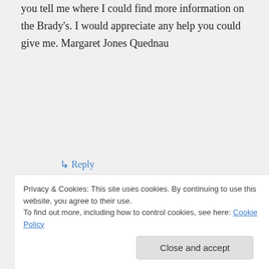you tell me where I could find more information on the Brady's. I would appreciate any help you could give me. Margaret Jones Quednau
↳ Reply
Angie Justice on May 22, 2017 at 3:15 am
Margaret this is my line. Email me
Privacy & Cookies: This site uses cookies. By continuing to use this website, you agree to their use. To find out more, including how to control cookies, see here: Cookie Policy
Close and accept